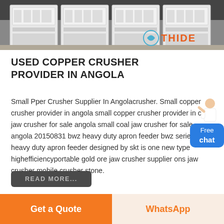[Figure (photo): Industrial crusher/feeder machines in a factory showroom with a THIDE brand logo visible]
USED COPPER CRUSHER PROVIDER IN ANGOLA
Small Pper Crusher Supplier In Angolacrusher. Small copper crusher provider in angola small copper crusher provider in coal jaw crusher for sale angola small coal jaw crusher for sale angola 20150831 bwz heavy duty apron feeder bwz series heavy duty apron feeder designed by skt is one new type highefficiencyportable gold ore jaw crusher supplier ons jaw crusher mobile crusher stone.
READ MORE...
Get a Quote
WhatsApp